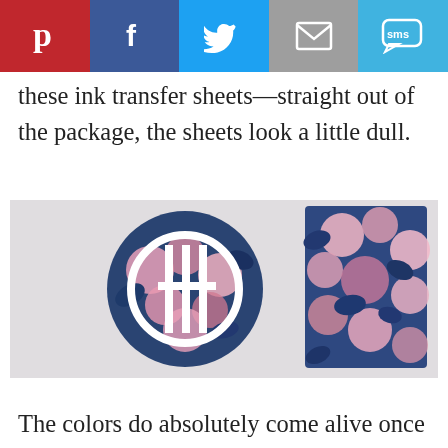[Figure (other): Social sharing bar with Pinterest (red), Facebook (dark blue), Twitter (light blue), Email (gray), SMS (light blue) buttons with icons]
these ink transfer sheets—straight out of the package, the sheets look a little dull.
[Figure (photo): Photo of two items with dark blue floral pattern featuring pink roses: a circular plate/disc on the left with a white monogram cutout, and a rectangular notebook/book on the right]
The colors do absolutely come alive once